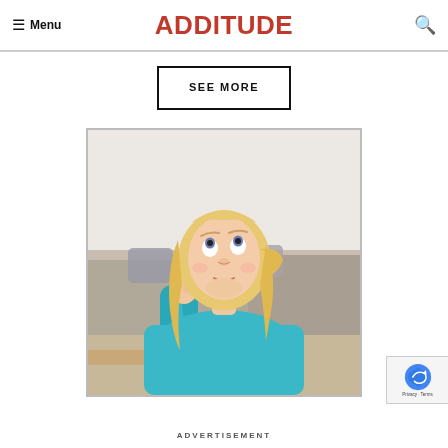Menu | ADDitude
SEE MORE
[Figure (photo): Young blonde girl in a teal long-sleeve shirt sitting at a table, resting her chin on her hand, and looking upward thoughtfully. Background shows a blurred living room with a couch and pillows.]
ADVERTISEMENT